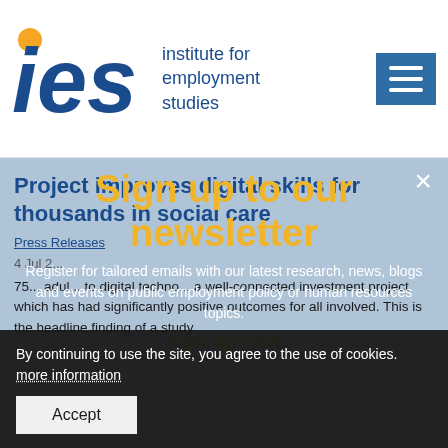[Figure (logo): IES Institute for Employment Studies logo with yellow circle dot above 'i', blue IES letters, and hamburger menu icon]
Project improves digital skills for thousands in social care
Press Releases
4 Jul 2...
Sign up to our newsletter
Register for tailored emails with our latest research, news, blogs and events on public employment policy or human resources topics.
sign up now
75... adul... to digital techno... a well-connected investment project which has had significantly positive outcomes for all involved. This is the headline finding of a study
By continuing to use the site, you agree to the use of cookies. more information
Accept